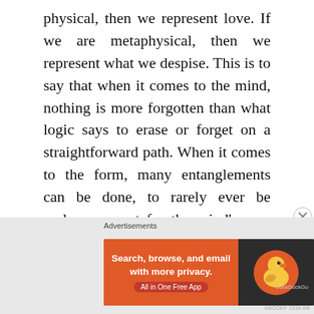physical, then we represent love. If we are metaphysical, then we represent what we despise. This is to say that when it comes to the mind, nothing is more forgotten than what logic says to erase or forget on a straightforward path. When it comes to the form, many entanglements can be done, to rarely ever be undone, except for the mind's own interference.
We seem to deify Devils.
We rarely ever comprehend we are all angels,
[Figure (screenshot): DuckDuckGo advertisement banner: orange background with text 'Search, browse, and email with more privacy. All in One Free App' and DuckDuckGo logo on dark background. Labeled 'Advertisements' above.]